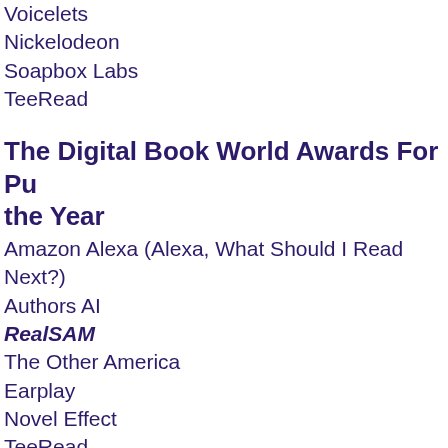Voicelets
Nickelodeon
Soapbox Labs
TeeRead
The Digital Book World Awards For Publisher of the Year
Amazon Alexa (Alexa, What Should I Read Next?)
Authors AI
RealSAM
The Other America
Earplay
Novel Effect
TeeRead
The Voice of Money Award for Best Fi
WealthVoice
Best Innovation Group